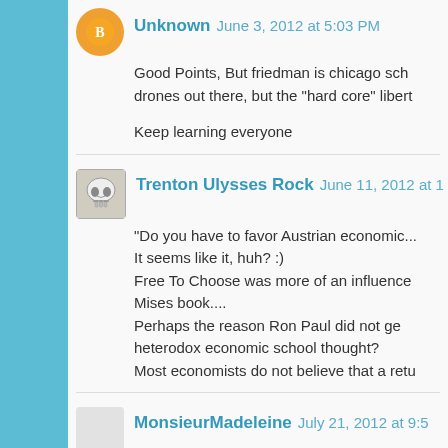[Figure (other): Blogger avatar icon (orange circle with B logo)]
Unknown  June 3, 2012 at 5:03 PM
Good Points, But friedman is chicago sch... drones out there, but the "hard core" libert...
Keep learning everyone
[Figure (other): Skull avatar image for Trenton Ulysses Rock]
Trenton Ulysses Rock  June 11, 2012 at 1...
"Do you have to favor Austrian economic... It seems like it, huh? :) Free To Choose was more of an influence... Mises book.... Perhaps the reason Ron Paul did not ge... heterodox economic school thought? Most economists do not believe that a retu...
[Figure (other): Avatar for MonsieurMadeleine (partially visible)]
MonsieurMadeleine  July 21, 2012 at 9:5...
Most economists are keynsians.... you k...